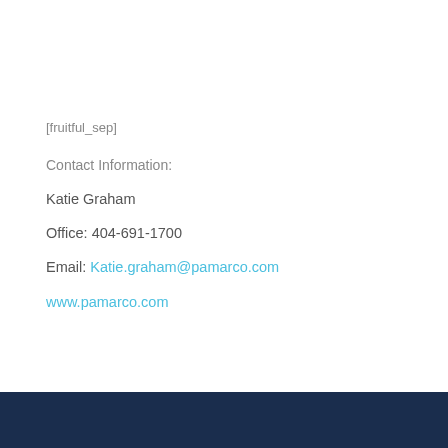[fruitful_sep]
Contact Information:
Katie Graham
Office: 404-691-1700
Email: Katie.graham@pamarco.com
www.pamarco.com